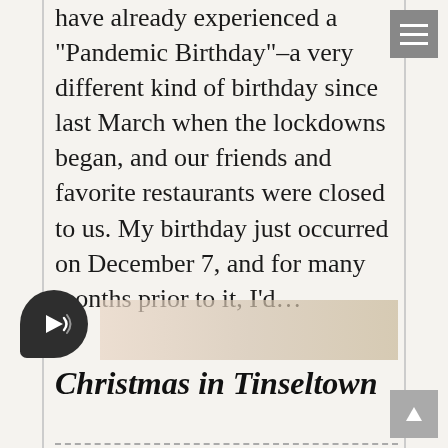have already experienced a “Pandemic Birthday”–a very different kind of birthday since last March when the lockdowns began, and our friends and favorite restaurants were closed to us. My birthday just occurred on December 7, and for many months prior to it, I’d…
Christmas in Tinseltown
Education , History , Holiday Literature , Inspiration , news